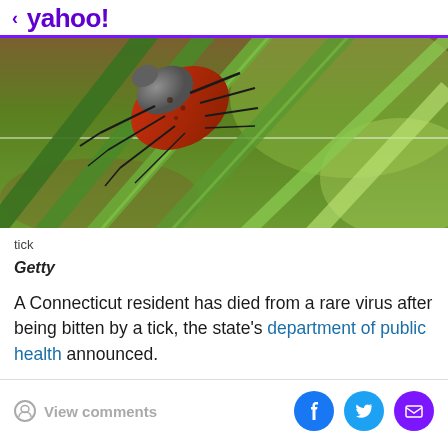< yahoo!
[Figure (photo): Close-up macro photograph of a tick (with red and gray body) on green plant stems/blades, against a blurred green and brown background.]
tick
Getty
A Connecticut resident has died from a rare virus after being bitten by a tick, the state's department of public health announced.
View comments | Facebook | Twitter | Email